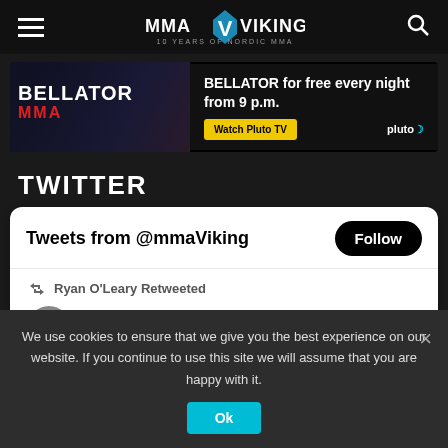MMA VIKING – 10 YEARS OF NORDIC MMA
[Figure (infographic): Bellator MMA advertisement banner – BELLATOR for free every night from 9 p.m. Watch Pluto TV]
TWITTER
Tweets from @mmaViking
Ryan O'Leary Retweeted
Shardog @shardogsteam · Aug 07
We use cookies to ensure that we give you the best experience on our website. If you continue to use this site we will assume that you are happy with it.
Ok